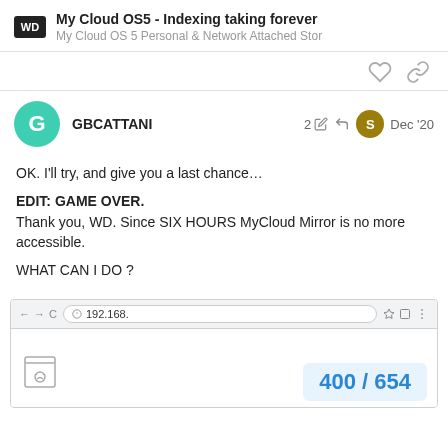My Cloud OS5 - Indexing taking forever
My Cloud OS 5 Personal & Network Attached Stor
GBCATTANI  2  Dec '20
OK. I'll try, and give you a last chance…

EDIT: GAME OVER.
Thank you, WD. Since SIX HOURS MyCloud Mirror is no more accessible.

WHAT CAN I DO ?
[Figure (screenshot): Browser screenshot showing Chrome address bar with 192.168... URL, and a sad face error icon with page counter 400 / 654]